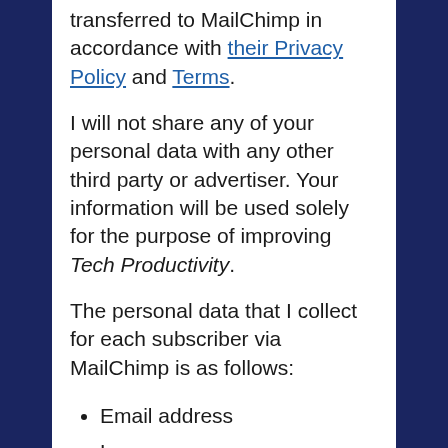transferred to MailChimp in accordance with their Privacy Policy and Terms.
I will not share any of your personal data with any other third party or advertiser. Your information will be used solely for the purpose of improving Tech Productivity.
The personal data that I collect for each subscriber via MailChimp is as follows:
Email address
Language
Location (including country and latitude/longitude)
Timezone
Email client